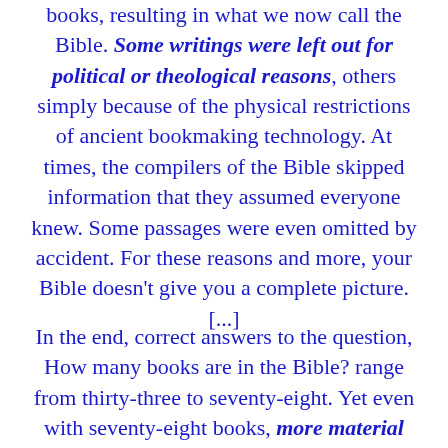books, resulting in what we now call the Bible. Some writings were left out for political or theological reasons, others simply because of the physical restrictions of ancient bookmaking technology. At times, the compilers of the Bible skipped information that they assumed everyone knew. Some passages were even omitted by accident. For these reasons and more, your Bible doesn't give you a complete picture. [...]
In the end, correct answers to the question, How many books are in the Bible? range from thirty-three to seventy-eight. Yet even with seventy-eight books, more material was